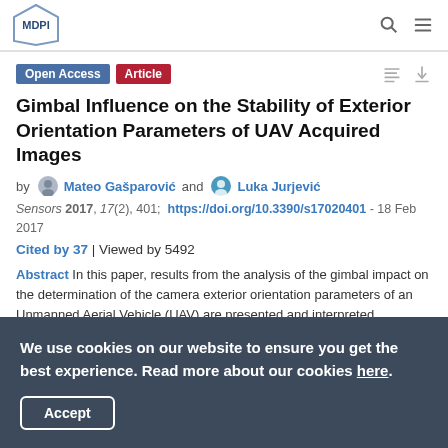MDPI
Open Access  Article
Gimbal Influence on the Stability of Exterior Orientation Parameters of UAV Acquired Images
by Mateo Gašparović and Luka Jurjević
Sensors 2017, 17(2), 401; https://doi.org/10.3390/s17020401 - 18 Feb 2017
Cited by 37 | Viewed by 5492
Abstract In this paper, results from the analysis of the gimbal impact on the determination of the camera exterior orientation parameters of an Unmanned Aerial Vehicle (UAV) are presented and interpreted. Additionally, a new approach and methodology for testing the influence...
We use cookies on our website to ensure you get the best experience. Read more about our cookies here.
Accept